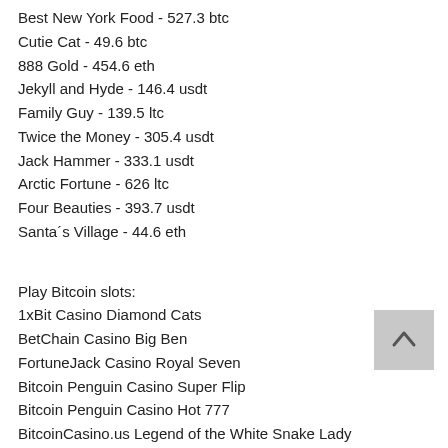Best New York Food - 527.3 btc
Cutie Cat - 49.6 btc
888 Gold - 454.6 eth
Jekyll and Hyde - 146.4 usdt
Family Guy - 139.5 ltc
Twice the Money - 305.4 usdt
Jack Hammer - 333.1 usdt
Arctic Fortune - 626 ltc
Four Beauties - 393.7 usdt
Santa´s Village - 44.6 eth
Play Bitcoin slots:
1xBit Casino Diamond Cats
BetChain Casino Big Ben
FortuneJack Casino Royal Seven
Bitcoin Penguin Casino Super Flip
Bitcoin Penguin Casino Hot 777
BitcoinCasino.us Legend of the White Snake Lady
CryptoGames Crystal Cash
CryptoGames Amazon Wild